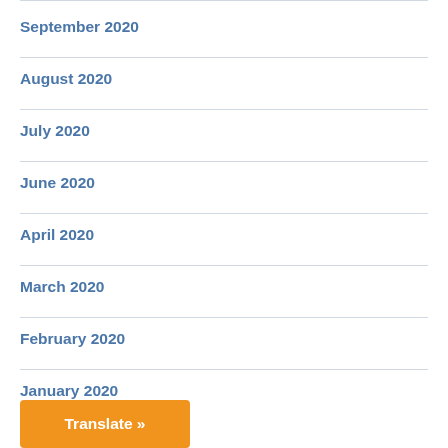September 2020
August 2020
July 2020
June 2020
April 2020
March 2020
February 2020
January 2020
December 2019
Translate »